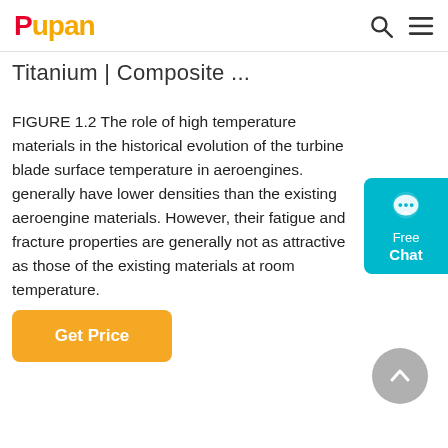Pupan
Titanium | Composite ...
FIGURE 1.2 The role of high temperature materials in the historical evolution of the turbine blade surface temperature in aeroengines. generally have lower densities than the existing aeroengine materials. However, their fatigue and fracture properties are generally not as attractive as those of the existing materials at room temperature.
Get Price
[Figure (other): Free Chat widget — teal rounded rectangle with chat bubble icon and text 'Free Chat']
[Figure (other): Scroll-to-top button — grey circle with upward chevron arrow]